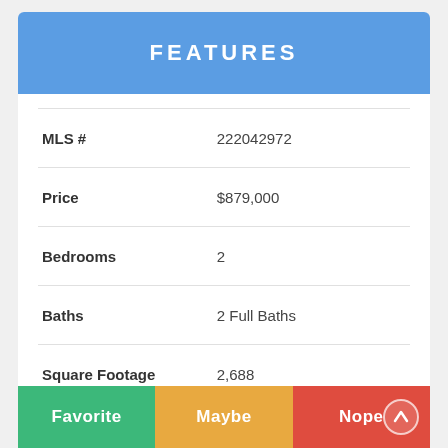FEATURES
| Feature | Value |
| --- | --- |
| MLS # | 222042972 |
| Price | $879,000 |
| Bedrooms | 2 |
| Baths | 2 Full Baths |
| Square Footage | 2,688 |
| Garage Space | 2.00 spaces |
| Year Built | 2005 |
| Lot Size | 0.20 acres |
Favorite   Maybe   Nope